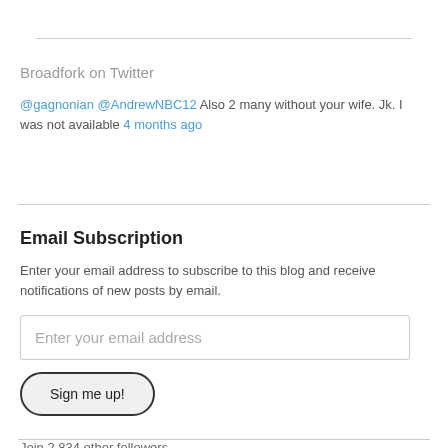Broadfork on Twitter
@gagnonian @AndrewNBC12 Also 2 many without your wife. Jk. I was not available 4 months ago
Email Subscription
Enter your email address to subscribe to this blog and receive notifications of new posts by email.
Enter your email address
Sign me up!
Join 2,834 other followers